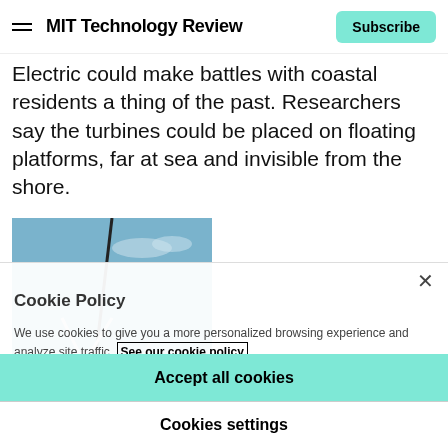MIT Technology Review  |  Subscribe
Electric could make battles with coastal residents a thing of the past. Researchers say the turbines could be placed on floating platforms, far at sea and invisible from the shore.
[Figure (photo): Offshore wind turbines under blue sky, blades visible against sky and ocean]
Wind turbines off Ireland's coast produce 3.6 megawatts of electricity each. (Courtesy of GE)
Cookie Policy
We use cookies to give you a more personalized browsing experience and analyze site traffic. See our cookie policy
Accept all cookies
Cookies settings